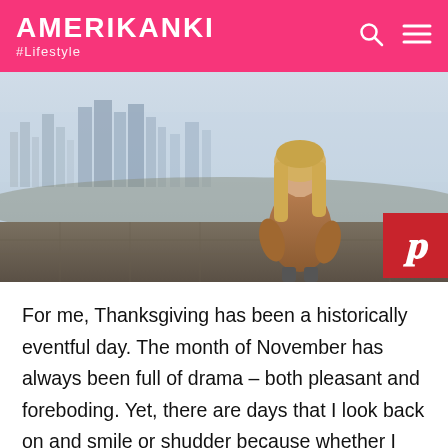AMERIKANKI #Lifestyle
[Figure (photo): Woman with long blonde hair seen from behind, sitting on a stone wall, wearing a brown jacket, looking out over a cityscape with tall buildings in the background under a hazy sky.]
For me, Thanksgiving has been a historically eventful day. The month of November has always been full of drama – both pleasant and foreboding. Yet, there are days that I look back on and smile or shudder because whether I like it or not, nothing puts more fun into Thanksgiving than my